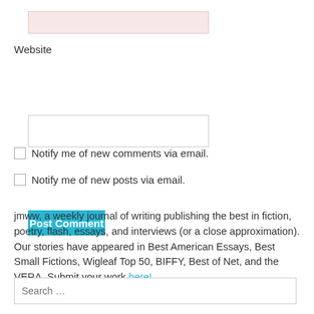[Figure (screenshot): Email input field with pinkish background]
Website
[Figure (screenshot): Website input field, empty, white background with border]
[Figure (screenshot): Post Comment button, cyan/teal blue background]
Notify me of new comments via email.
Notify me of new posts via email.
jmww, a weekly journal of writing publishing the best in fiction, poetry, flash, essays, and interviews (or a close approximation). Our stories have appeared in Best American Essays, Best Small Fictions, Wigleaf Top 50, BIFFY, Best of Net, and the VERA. Submit your work here!
[Figure (screenshot): Search input field with placeholder text 'Search ...']